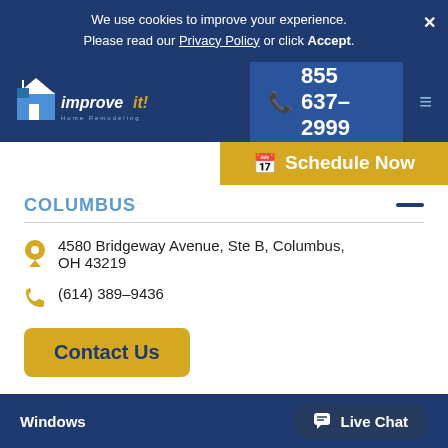We use cookies to improve your experience. Please read our Privacy Policy or click Accept.
[Figure (logo): improve it! Home Remodeling logo in white on dark blue background]
855 637-2999
Schedule Now
COLUMBUS
4580 Bridgeway Avenue, Ste B, Columbus, OH 43219
(614) 389-9436
Contact Us
Windows
Live Chat